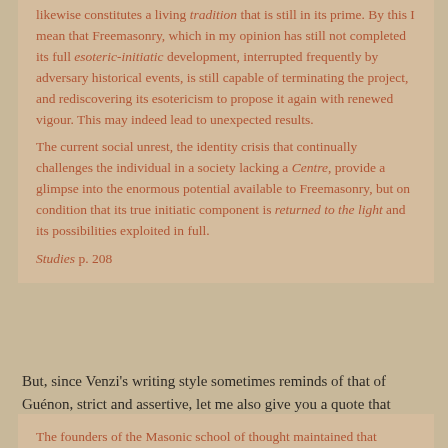likewise constitutes a living tradition that is still in its prime. By this I mean that Freemasonry, which in my opinion has still not completed its full esoteric-initiatic development, interrupted frequently by adversary historical events, is still capable of terminating the project, and rediscovering its esotericism to propose it again with renewed vigour. This may indeed lead to unexpected results.
The current social unrest, the identity crisis that continually challenges the individual in a society lacking a Centre, provide a glimpse into the enormous potential available to Freemasonry, but on condition that its true initiatic component is returned to the light and its possibilities exploited in full.
Studies p. 208
But, since Venzi's writing style sometimes reminds of that of Guénon, strict and assertive, let me also give you a quote that many contemporary Freemasons wil disagree with.
The founders of the Masonic school of thought maintained that